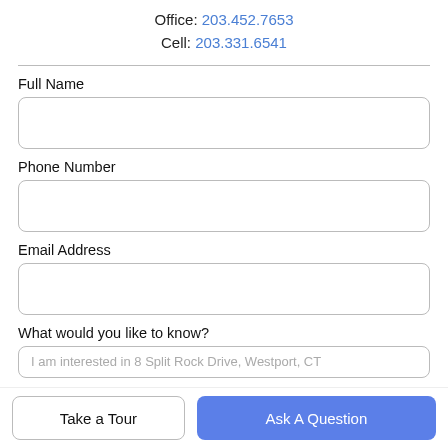Office: 203.452.7653
Cell: 203.331.6541
Full Name
Phone Number
Email Address
What would you like to know?
I am interested in 8 Split Rock Drive, Westport, CT
Take a Tour
Ask A Question